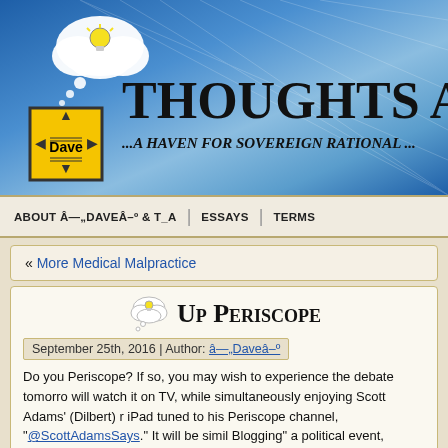[Figure (screenshot): Website header banner with blue gradient background, thought bubble logo with lightbulb, yellow Dave directional sign, site title 'Thoughts Alo...' and subtitle '...A Haven For Sovereign Rational...']
ABOUT Â—„DAVEÂ–º & T_A | ESSAYS | TERMS
« More Medical Malpractice
Up Periscope
September 25th, 2016 | Author: â—„Daveâ–º
Do you Periscope? If so, you may wish to experience the debate tomorrow will watch it on TV, while simultaneously enjoying Scott Adams' (Dilbert) r iPad tuned to his Periscope channel, "@ScottAdamsSays." It will be simili Blogging" a political event, except Periscope is an actual streaming audio Speaking of visual, his very hot neighbor will be co-hosting the "Scope" w